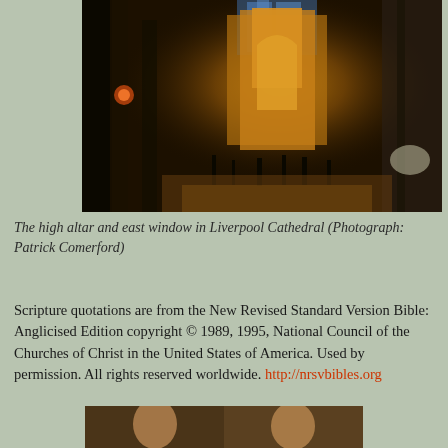[Figure (photo): Interior of Liverpool Cathedral showing the high altar and east window with warm golden lighting, columns, and visitors in the nave]
The high altar and east window in Liverpool Cathedral (Photograph: Patrick Comerford)
Scripture quotations are from the New Revised Standard Version Bible: Anglicised Edition copyright © 1989, 1995, National Council of the Churches of Christ in the United States of America. Used by permission. All rights reserved worldwide. http://nrsvbibles.org
[Figure (photo): Partial view of a person, bottom of page]